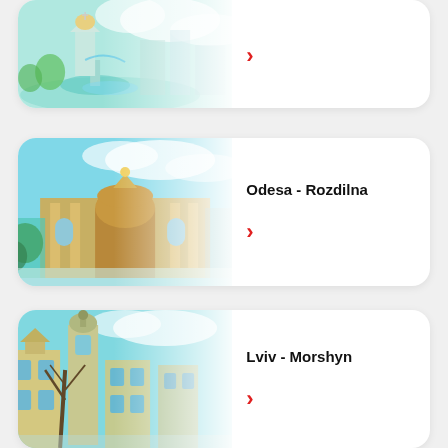[Figure (illustration): Card 1: Illustrated Ukrainian city scene with fountain and monument, teal/turquoise artistic style]
[Figure (illustration): Card 2: Odesa Opera House illustration with golden ornate facade, teal artistic style, text: Odesa - Rozdilna]
[Figure (illustration): Card 3: Lviv city illustration with historical buildings and church tower, teal artistic style, text: Lviv - Morshyn]